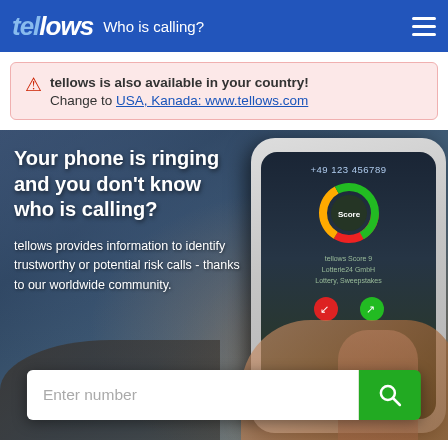tellows – Who is calling?
tellows is also available in your country! Change to USA, Kanada: www.tellows.com
[Figure (screenshot): Hero banner showing a hand holding a smartphone with a phone call screen displaying +49 123 456789, tellows score circle, Lotterie24 GmbH / Lottery Sweepstakes info, with overlaid text: 'Your phone is ringing and you don't know who is calling?' and 'tellows provides information to identify trustworthy or potential risk calls - thanks to our worldwide community.' with a search box at the bottom.]